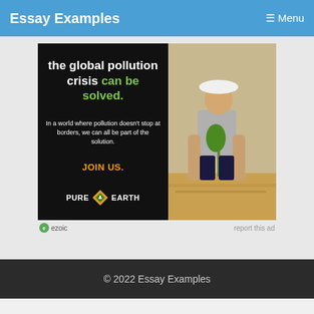Essay Examples  ≡ Menu
[Figure (illustration): Pure Earth advertisement banner. Left side black background with white text 'the global pollution crisis can be solved.' in green, subtext 'In a world where pollution doesn't stop at borders, we can all be part of the solution.', 'JOIN US.' in orange, and Pure Earth logo. Right side shows a person in a hard hat planting a tree seedling.]
ezoic   report this ad
© 2022 Essay Examples